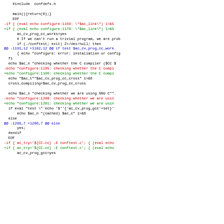Diff output showing configure script changes with line-removed (red), line-added (green), context (black), and hunk header (blue) lines.